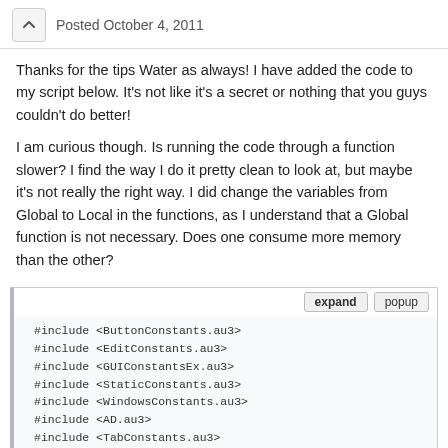Posted October 4, 2011
Thanks for the tips Water as always! I have added the code to my script below. It's not like it's a secret or nothing that you guys couldn't do better!
I am curious though. Is running the code through a function slower? I find the way I do it pretty clean to look at, but maybe it's not really the right way. I did change the variables from Global to Local in the functions, as I understand that a Global function is not necessary. Does one consume more memory than the other?
[Figure (screenshot): Code block with expand and popup buttons showing AutoIt script code including #include statements, Opt, Global variables, _AD_Open() and a comment about checking permissions.]